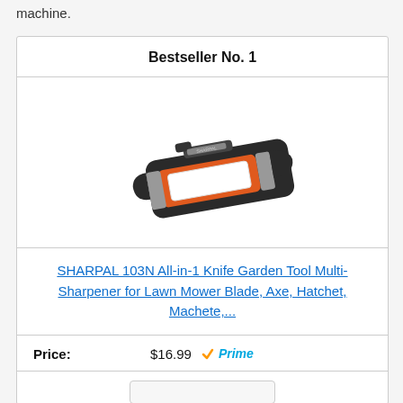machine.
| Bestseller No. 1 |
| [Product image: SHARPAL knife sharpener tool] |
| SHARPAL 103N All-in-1 Knife Garden Tool Multi-Sharpener for Lawn Mower Blade, Axe, Hatchet, Machete,... |
| Price: | $16.99  Prime |